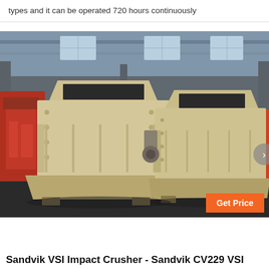types and it can be operated 720 hours continuously
[Figure (photo): Two large beige/cream-colored Sandvik VSI impact crushers parked inside an industrial factory building. Red machinery visible on the left. Orange 'Get Price' button overlay in the bottom right corner.]
Sandvik VSI Impact Crusher - Sandvik CV229 VSI